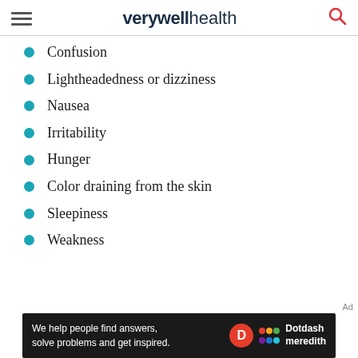verywell health
Confusion
Lightheadedness or dizziness
Nausea
Irritability
Hunger
Color draining from the skin
Sleepiness
Weakness
[Figure (infographic): Dotdash Meredith advertisement banner: 'We help people find answers, solve problems and get inspired.']
Ad